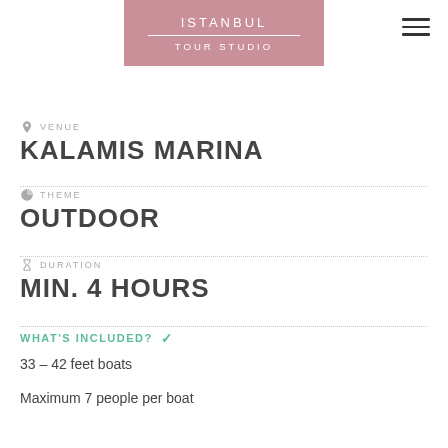[Figure (logo): iSTANBUL TOUR STUDIO logo on pink/mauve background]
VENUE
KALAMIS MARINA
THEME
OUTDOOR
DURATION
MIN. 4 HOURS
WHAT'S INCLUDED? ✓
33 – 42 feet boats
Maximum 7 people per boat